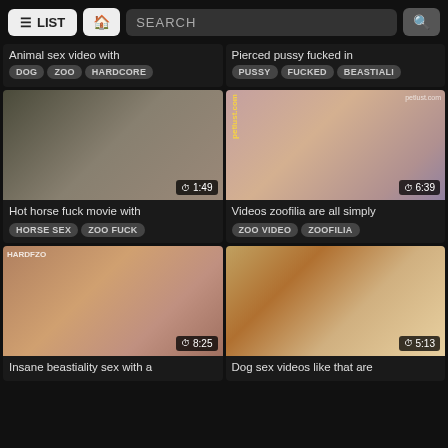LIST | HOME | SEARCH
Animal sex video with
DOG | ZOO | HARDCORE
Pierced pussy fucked in
PUSSY | FUCKED | BEASTIALI
[Figure (screenshot): Video thumbnail showing animal content, duration 1:49]
[Figure (screenshot): Video thumbnail with petlust.com watermark, duration 6:39]
Hot horse fuck movie with
HORSE SEX | ZOO FUCK
Videos zoofilia are all simply
ZOO VIDEO | ZOOFILIA
[Figure (screenshot): Video thumbnail with HARDFZO watermark, duration 8:25]
[Figure (screenshot): Video thumbnail showing animal content, duration 5:13]
Insane beastiality sex with a
Dog sex videos like that are